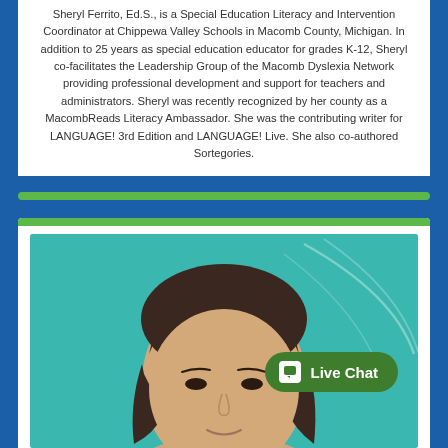Sheryl Ferrito, Ed.S., is a Special Education Literacy and Intervention Coordinator at Chippewa Valley Schools in Macomb County, Michigan. In addition to 25 years as special education educator for grades K-12, Sheryl co-facilitates the Leadership Group of the Macomb Dyslexia Network providing professional development and support for teachers and administrators. Sheryl was recently recognized by her county as a MacombReads Literacy Ambassador. She was the contributing writer for LANGUAGE! 3rd Edition and LANGUAGE! Live. She also co-authored Sortegories.
[Figure (photo): Headshot photo of a woman with long dark hair against a teal background, with a green 'Live Chat' button overlay in the lower right area of the photo.]